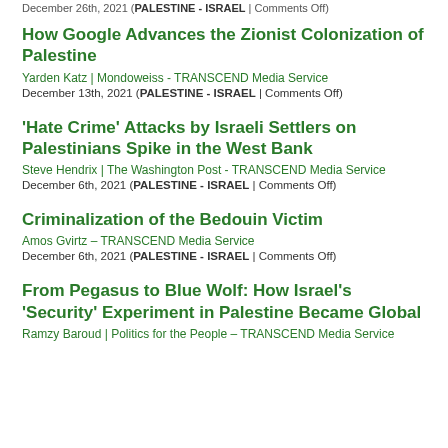December 26th, 2021 (PALESTINE - ISRAEL | Comments Off)
How Google Advances the Zionist Colonization of Palestine
Yarden Katz | Mondoweiss - TRANSCEND Media Service
December 13th, 2021 (PALESTINE - ISRAEL | Comments Off)
'Hate Crime' Attacks by Israeli Settlers on Palestinians Spike in the West Bank
Steve Hendrix | The Washington Post - TRANSCEND Media Service
December 6th, 2021 (PALESTINE - ISRAEL | Comments Off)
Criminalization of the Bedouin Victim
Amos Gvirtz – TRANSCEND Media Service
December 6th, 2021 (PALESTINE - ISRAEL | Comments Off)
From Pegasus to Blue Wolf: How Israel's 'Security' Experiment in Palestine Became Global
Ramzy Baroud | Politics for the People – TRANSCEND Media Service